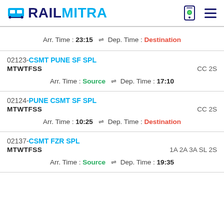RAILMITRA
Arr. Time : 23:15 ⇌ Dep. Time : Destination
02123-CSMT PUNE SF SPL
MTWTFSS CC 2S
Arr. Time : Source ⇌ Dep. Time : 17:10
02124-PUNE CSMT SF SPL
MTWTFSS CC 2S
Arr. Time : 10:25 ⇌ Dep. Time : Destination
02137-CSMT FZR SPL
MTWTFSS 1A 2A 3A SL 2S
Arr. Time : Source ⇌ Dep. Time : 19:35